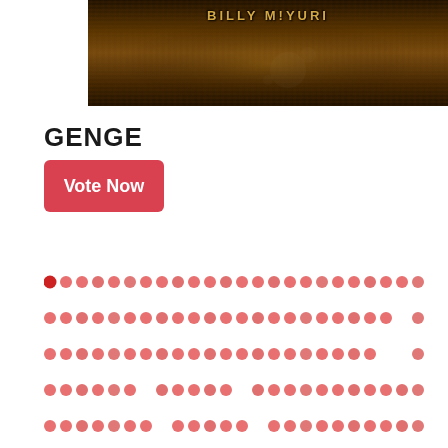[Figure (photo): Dark golden/brown bokeh background image with text 'BILLY MIYURI' displayed at the top in gold styled lettering]
GENGE
Vote Now
[Figure (infographic): Five rows of salmon/red dots arranged in a grid pattern, with the first dot in the top row being a darker red]